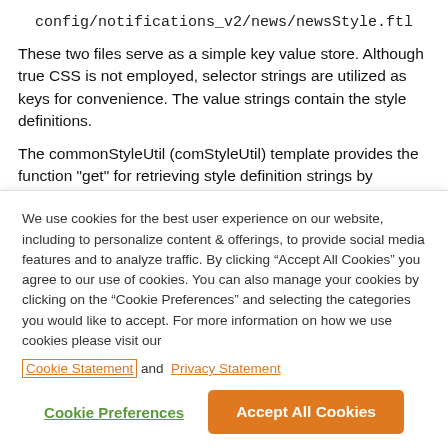config/notifications_v2/news/newsStyle.ftl
These two files serve as a simple key value store. Although true CSS is not employed, selector strings are utilized as keys for convenience. The value strings contain the style definitions.
The commonStyleUtil (comStyleUtil) template provides the function "get" for retrieving style definition strings by selector key. This function also allows alternate style overrides in the case of digest (news) templates.
We use cookies for the best user experience on our website, including to personalize content & offerings, to provide social media features and to analyze traffic. By clicking “Accept All Cookies” you agree to our use of cookies. You can also manage your cookies by clicking on the “Cookie Preferences” and selecting the categories you would like to accept. For more information on how we use cookies please visit our Cookie Statement and Privacy Statement
Cookie Preferences
Accept All Cookies